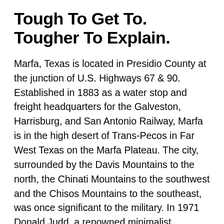Tough To Get To. Tougher To Explain.
Marfa, Texas is located in Presidio County at the junction of U.S. Highways 67 & 90. Established in 1883 as a water stop and freight headquarters for the Galveston, Harrisburg, and San Antonio Railway, Marfa is in the high desert of Trans-Pecos in Far West Texas on the Marfa Plateau. The city, surrounded by the Davis Mountains to the north, the Chinati Mountains to the southwest and the Chisos Mountains to the southeast, was once significant to the military. In 1971 Donald Judd, a renowned minimalist sculptor, made his first trip to Marfa, where he would later start buying buildings and land to showcase his art. Today Marfa is a